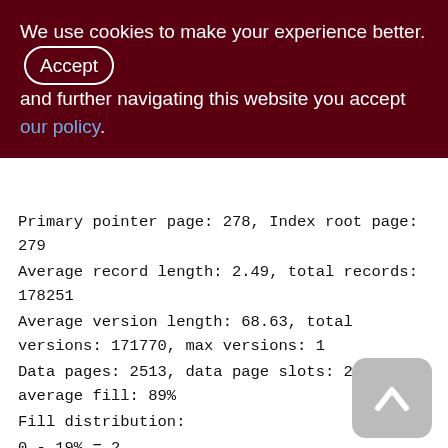We use cookies to make your experience better. By Accept and further navigating this website you accept our policy.
Primary pointer page: 278, Index root page: 279
Average record length: 2.49, total records: 178251
Average version length: 68.63, total versions: 171770, max versions: 1
Data pages: 2513, data page slots: 2513, average fill: 89%
Fill distribution:
0 - 19% = 2
20 - 39% = 20
40 - 59% = 52
60 - 79% = 238